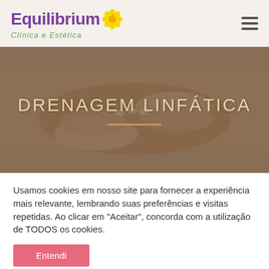[Figure (logo): Equilibrium Clínica e Estética logo with purple text and yellow flower, green subtitle]
[Figure (photo): Massage therapy photo showing hands performing lymphatic drainage on a person's back, with text DRENAGEM LINFÁTICA overlaid in beige/gold letters and a horizontal decorative line below]
Usamos cookies em nosso site para fornecer a experiência mais relevante, lembrando suas preferências e visitas repetidas. Ao clicar em "Aceitar", concorda com a utilização de TODOS os cookies.
Entendi